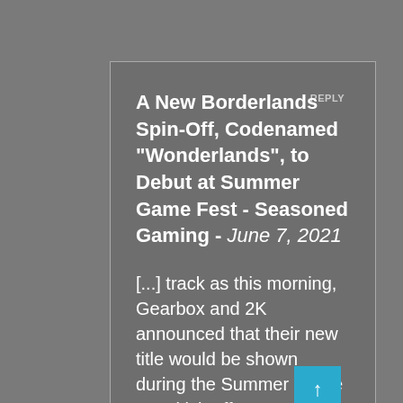A New Borderlands Spin-Off, Codenamed "Wonderlands", to Debut at Summer Game Fest - Seasoned Gaming - June 7, 2021
[...] track as this morning, Gearbox and 2K announced that their new title would be shown during the Summer Game Fest kick-off